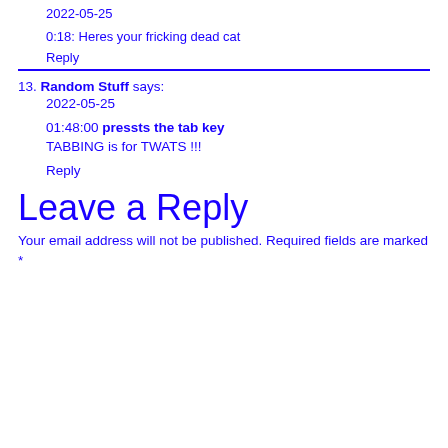2022-05-25
0:18: Heres your fricking dead cat
Reply
13. Random Stuff says: 2022-05-25
01:48:00 pressts the tab key
TABBING is for TWATS !!!
Reply
Leave a Reply
Your email address will not be published. Required fields are marked *